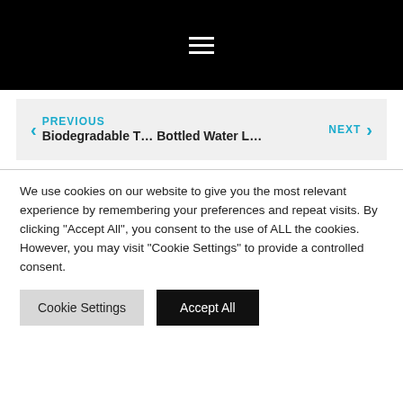[Figure (screenshot): Black navigation bar with white hamburger menu icon (three horizontal lines) centered]
PREVIOUS Biodegradable T… NEXT Bottled Water L…
We use cookies on our website to give you the most relevant experience by remembering your preferences and repeat visits. By clicking "Accept All", you consent to the use of ALL the cookies. However, you may visit "Cookie Settings" to provide a controlled consent.
Cookie Settings  Accept All